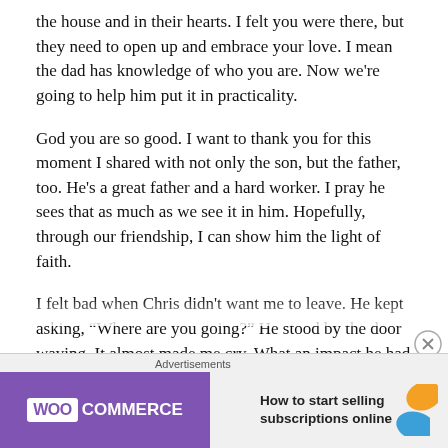the house and in their hearts. I felt you were there, but they need to open up and embrace your love. I mean the dad has knowledge of who you are. Now we're going to help him put it in practicality.
God you are so good. I want to thank you for this moment I shared with not only the son, but the father, too. He's a great father and a hard worker. I pray he sees that as much as we see it in him. Hopefully, through our friendship, I can show him the light of faith.
I felt bad when Chris didn't want me to leave. He kept asking, “Where are you going?” He stood by the door waving. It almost made me cry. What an impact he had on me. And I look forward to our future experiences. The love you'll pour onto him God, is going to overflow.
Advertisements
[Figure (other): WooCommerce advertisement banner with purple background, teal arrow, orange and blue decorative shapes, and text 'How to start selling subscriptions online']